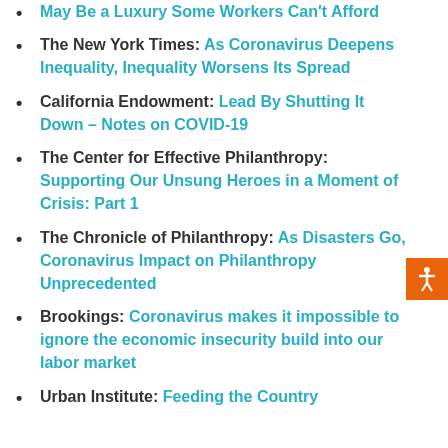May Be a Luxury Some Workers Can't Afford
The New York Times: As Coronavirus Deepens Inequality, Inequality Worsens Its Spread
California Endowment: Lead By Shutting It Down – Notes on COVID-19
The Center for Effective Philanthropy: Supporting Our Unsung Heroes in a Moment of Crisis: Part 1
The Chronicle of Philanthropy: As Disasters Go, Coronavirus Impact on Philanthropy Unprecedented
Brookings: Coronavirus makes it impossible to ignore the economic insecurity build into our labor market
Urban Institute: Feeding the Country